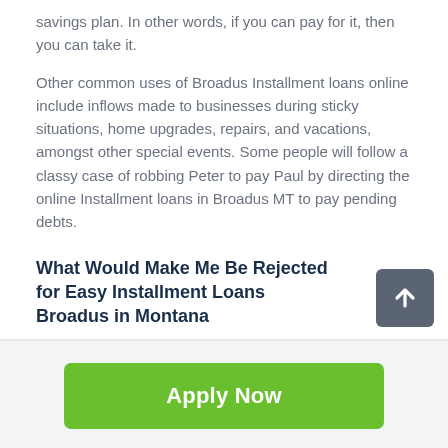savings plan. In other words, if you can pay for it, then you can take it.
Other common uses of Broadus Installment loans online include inflows made to businesses during sticky situations, home upgrades, repairs, and vacations, amongst other special events. Some people will follow a classy case of robbing Peter to pay Paul by directing the online Installment loans in Broadus MT to pay pending debts.
What Would Make Me Be Rejected for Easy Installment Loans Broadus in Montana
Apply Now
Applying does NOT affect your credit score!
No credit check to apply.